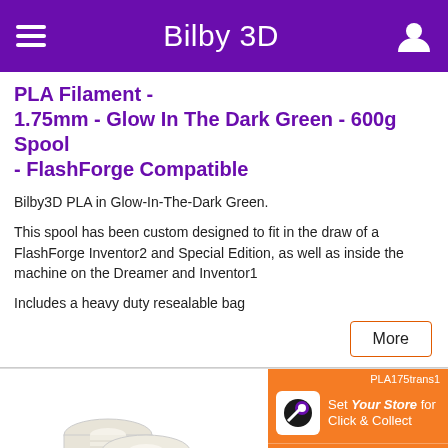Bilby 3D
PLA Filament - 1.75mm - Glow In The Dark Green - 600g Spool - FlashForge Compatible
Bilby3D PLA in Glow-In-The-Dark Green.

This spool has been custom designed to fit in the draw of a FlashForge Inventor2 and Special Edition, as well as inside the machine on the Dreamer and Inventor1

Includes a heavy duty resealable bag
PLA175trans1
Set Your Store for Click & Collect
50+ Dispatch Ready
$49.95
[Figure (photo): Two white/cream colored PLA filament spools stacked on white background]
PLA Filament